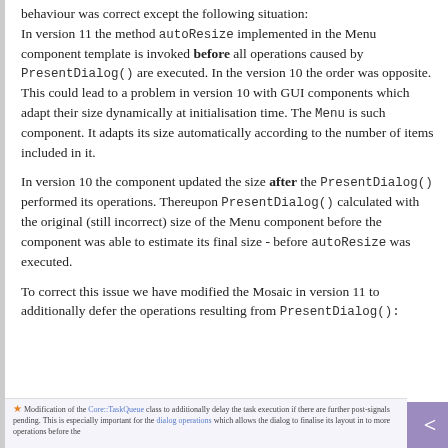behaviour was correct except the following situation:
In version 11 the method autoResize implemented in the Menu component template is invoked before all operations caused by PresentDialog() are executed. In the version 10 the order was opposite. This could lead to a problem in version 10 with GUI components which adapt their size dynamically at initialisation time. The Menu is such component. It adapts its size automatically according to the number of items included in it.
In version 10 the component updated the size after the PresentDialog() performed its operations. Thereupon PresentDialog() calculated with the original (still incorrect) size of the Menu component before the component was able to estimate its final size - before autoResize was executed.
To correct this issue we have modified the Mosaic in version 11 to additionally defer the operations resulting from PresentDialog():
Modification of the Core::TaskQueue class to additionally delay the task execution if there are further post-signals pending. This is especially important for the dialog operations which allows the dialog to finalise its layout in to more operations before the...